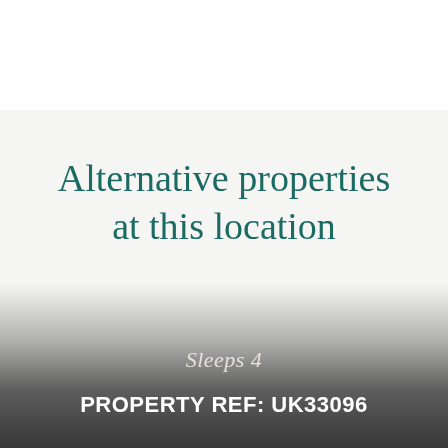Alternative properties at this location
Sleeps 4
PROPERTY REF: UK33096